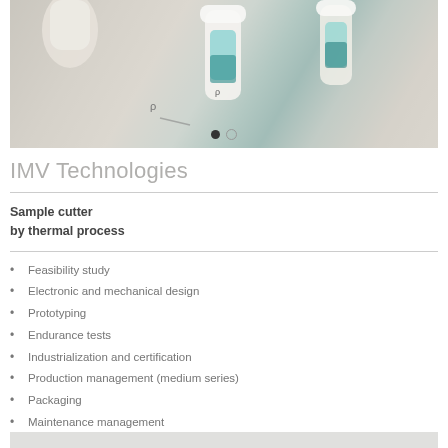[Figure (photo): Close-up photo of laboratory/medical equipment with white cylindrical components and teal/turquoise liquid vials on a light surface. Slide navigation dots visible at bottom.]
IMV Technologies
Sample cutter
by thermal process
Feasibility study
Electronic and mechanical design
Prototyping
Endurance tests
Industrialization and certification
Production management (medium series)
Packaging
Maintenance management